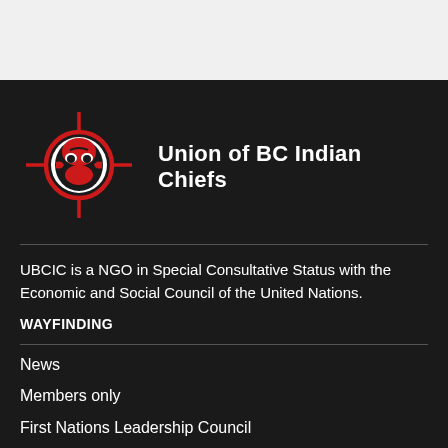[Figure (logo): Union of BC Indian Chiefs logo: a circular emblem with Indigenous art (face/figure) in red and white, surrounded by crosshair/compass lines in red, on a dark background]
Union of BC Indian Chiefs
UBCIC is a NGO in Special Consultative Status with the Economic and Social Council of the United Nations.
WAYFINDING
News
Members only
First Nations Leadership Council